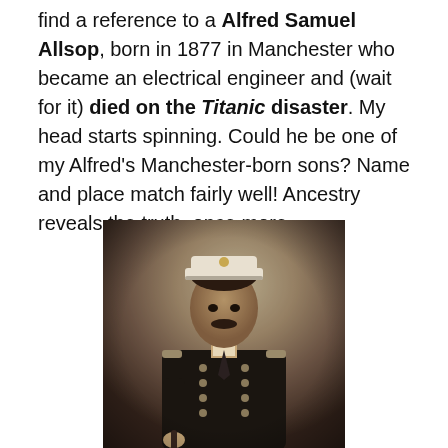find a reference to a Alfred Samuel Allsop, born in 1877 in Manchester who became an electrical engineer and (wait for it) died on the Titanic disaster. My head starts spinning. Could he be one of my Alfred's Manchester-born sons? Name and place match fairly well! Ancestry reveals the truth, once more.
[Figure (photo): Sepia-toned formal portrait photograph of a man in a naval or maritime uniform with double-breasted buttons, wearing a peaked white cap with a badge. He has a moustache and is holding something in his left hand. The background is a studio-style blurred backdrop.]